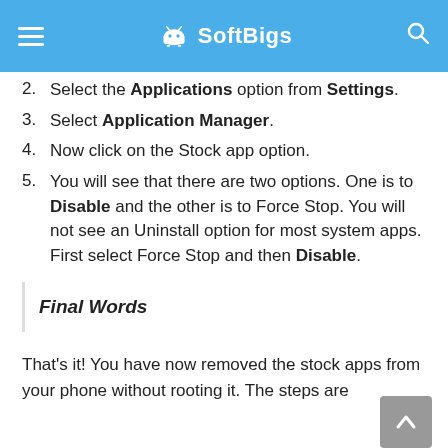☰ SoftBigs 🔍
2. Select the Applications option from Settings.
3. Select Application Manager.
4. Now click on the Stock app option.
5. You will see that there are two options. One is to Disable and the other is to Force Stop. You will not see an Uninstall option for most system apps. First select Force Stop and then Disable.
Final Words
That's it! You have now removed the stock apps from your phone without rooting it. The steps are